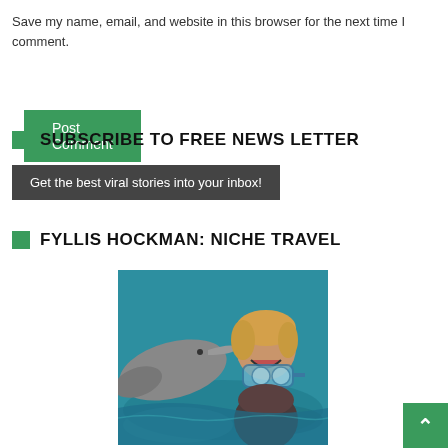Save my name, email, and website in this browser for the next time I comment.
Post Comment
SUBSCRIBE TO FREE NEWS LETTER
Get the best viral stories into your inbox!
FYLLIS HOCKMAN: NICHE TRAVEL
[Figure (photo): A smiling woman wearing snorkel goggles in the water being nuzzled by a dolphin]